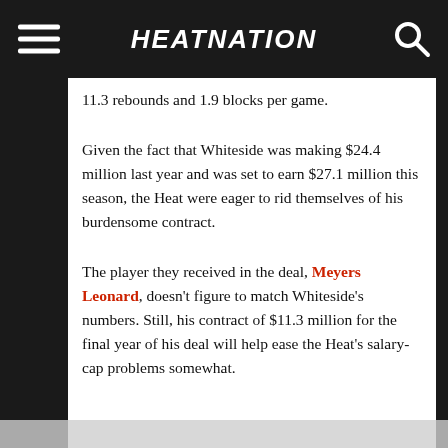HEATNATION
11.3 rebounds and 1.9 blocks per game.
Given the fact that Whiteside was making $24.4 million last year and was set to earn $27.1 million this season, the Heat were eager to rid themselves of his burdensome contract.
The player they received in the deal, Meyers Leonard, doesn't figure to match Whiteside's numbers. Still, his contract of $11.3 million for the final year of his deal will help ease the Heat's salary-cap problems somewhat.